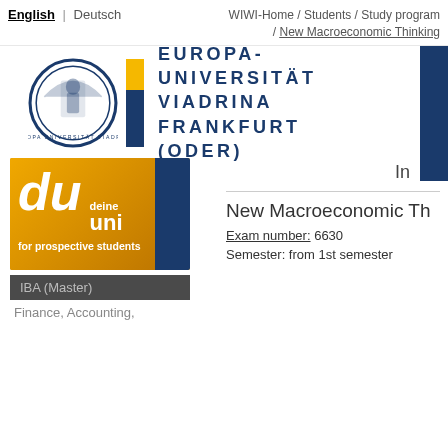English | Deutsch    WIWI-Home / Students / Study programs / New Macroeconomic Thinking
[Figure (logo): Europa-Universität Viadrina Frankfurt (Oder) logo with university seal, vertical yellow and blue bar, and bold blue text]
[Figure (logo): du deine uni - for prospective students banner in orange/gold and dark blue]
IBA (Master)
Finance, Accounting,
In
New Macroeconomic Th
Exam number: 6630
Semester: from 1st semester